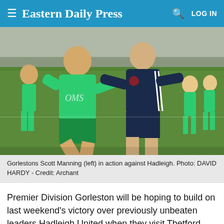Eastern Daily Press  LOG IN
[Figure (photo): Football match action photo: Gorleston player in green (Scott Manning, left) battling for the ball against a Hadleigh player in dark navy blue, with other players visible in background on a grass pitch.]
Gorlestons Scott Manning (left) in action against Hadleigh. Photo: DAVID HARDY - Credit: Archant
Premier Division Gorleston will be hoping to build on last weekend's victory over previously unbeaten leaders Hadleigh United when they visit Thetford Town.